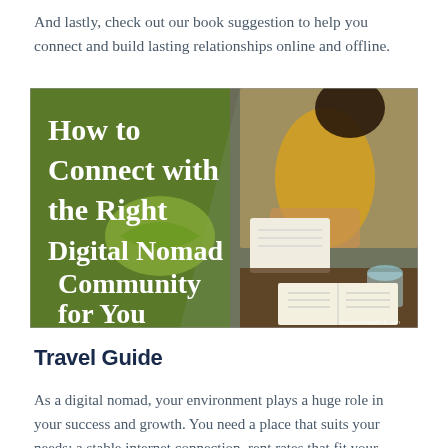And lastly, check out our book suggestion to help you connect and build lasting relationships online and offline.
[Figure (illustration): Book cover image with green background and white text reading 'How to Connect with the Right Digital Nomad Community for You', with a photo of a woman in a yellow shirt writing in a notebook at a wooden table with a drink and open book.]
Travel Guide
As a digital nomad, your environment plays a huge role in your success and growth. You need a place that suits your needs; a stable internet connection, rent rates that fit your budget, and